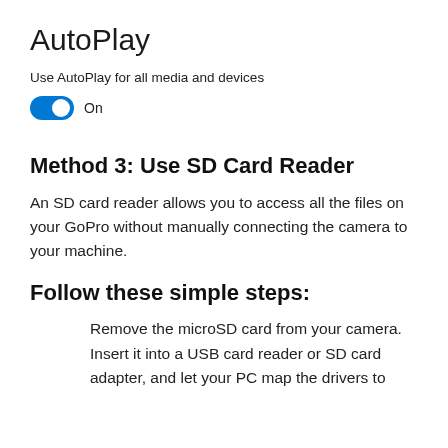AutoPlay
Use AutoPlay for all media and devices
On
Method 3: Use SD Card Reader
An SD card reader allows you to access all the files on your GoPro without manually connecting the camera to your machine.
Follow these simple steps:
Remove the microSD card from your camera. Insert it into a USB card reader or SD card adapter, and let your PC map the drivers to